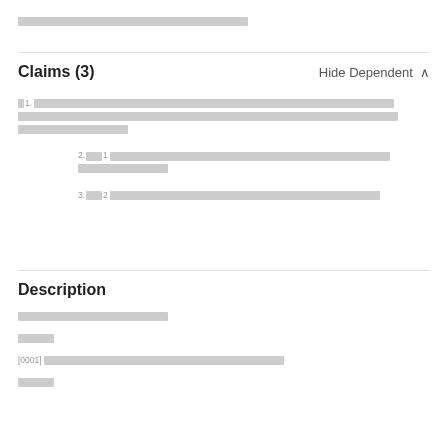[redacted header text]
Claims (3)
Hide Dependent ^
1. [redacted claim text spanning multiple lines]
2. [redacted] 1 [redacted claim text]
3. [redacted] 2 [redacted claim text]
Description
[redacted description line]
[redacted short text]
[0001] [redacted text]
[redacted short text]